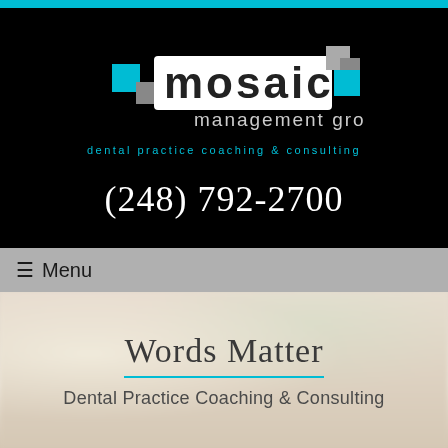[Figure (logo): Mosaic Management Group logo with cyan and gray square tiles, white text on black background]
dental practice coaching & consulting
(248) 792-2700
☰ Menu
Words Matter
Dental Practice Coaching & Consulting